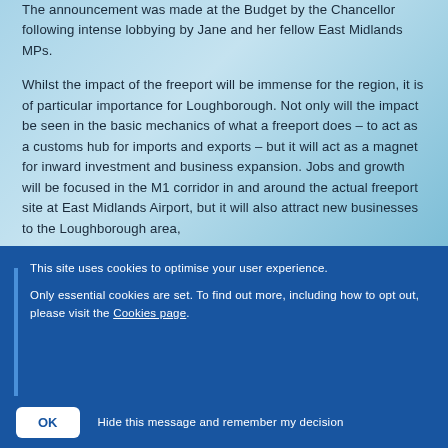The announcement was made at the Budget by the Chancellor following intense lobbying by Jane and her fellow East Midlands MPs.
Whilst the impact of the freeport will be immense for the region, it is of particular importance for Loughborough. Not only will the impact be seen in the basic mechanics of what a freeport does – to act as a customs hub for imports and exports – but it will act as a magnet for inward investment and business expansion. Jobs and growth will be focused in the M1 corridor in and around the actual freeport site at East Midlands Airport, but it will also attract new businesses to the Loughborough area,
This site uses cookies to optimise your user experience.
Only essential cookies are set. To find out more, including how to opt out, please visit the Cookies page.
OK  Hide this message and remember my decision